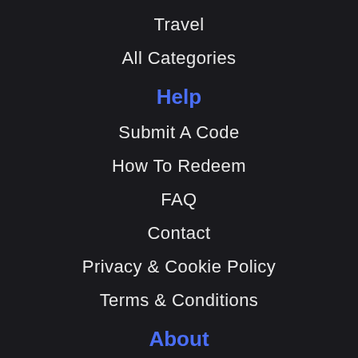Travel
All Categories
Help
Submit A Code
How To Redeem
FAQ
Contact
Privacy & Cookie Policy
Terms & Conditions
About
About